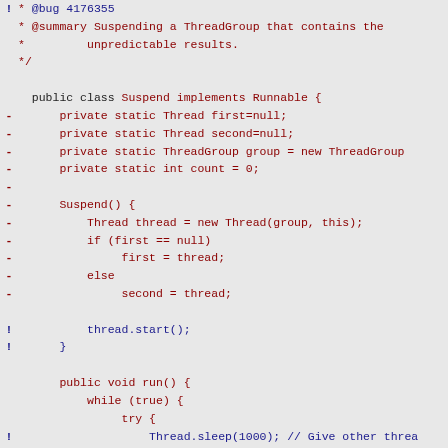Code diff showing Java class Suspend implements Runnable with thread management code
[Figure (screenshot): Source code diff of Java file showing ThreadGroup suspend bug fix (bug 4176355). Shows class Suspend implementing Runnable with static Thread fields, constructor, and run method with sleep and suspend calls.]